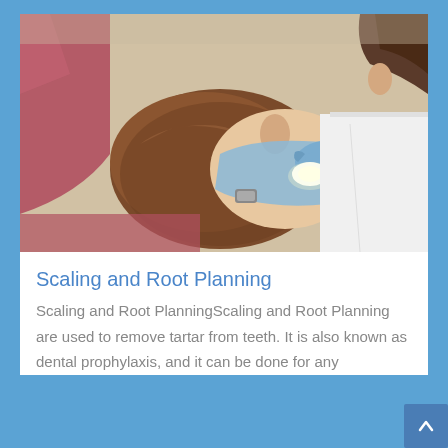[Figure (photo): A dental patient (child or young person with brown hair) reclined in a dental chair with mouth open, being treated by a dental professional wearing blue gloves and white coat. The dentist is using a dental instrument with a light. The dental chair is red/maroon colored.]
Scaling and Root Planning
Scaling and Root PlanningScaling and Root Planning are used to remove tartar from teeth. It is also known as dental prophylaxis, and it can be done for any